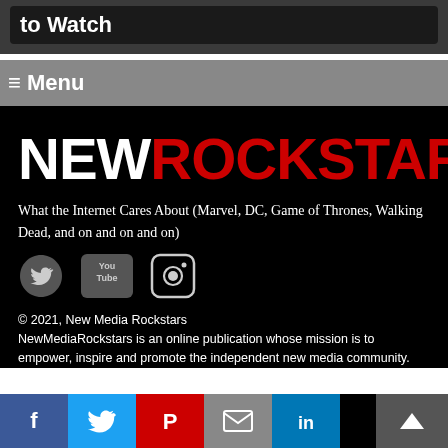to Watch
≡ Menu
[Figure (logo): New Rockstars logo — NEW in white, ROCKSTARS in red, bold condensed sans-serif]
What the Internet Cares About (Marvel, DC, Game of Thrones, Walking Dead, and on and on and on)
[Figure (infographic): Social media icons: Twitter bird, YouTube logo, Instagram camera]
© 2021, New Media Rockstars
NewMediaRockstars is an online publication whose mission is to empower, inspire and promote the independent new media community.
[Figure (infographic): Share buttons: Facebook (f), Twitter bird, Pinterest (P), Email (envelope), LinkedIn (in); Back to top button with up arrow]